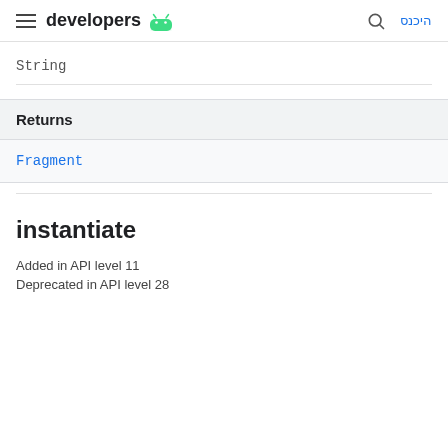developers  היכנס
String
| Returns |
| --- |
| Fragment |
instantiate
Added in API level 11
Deprecated in API level 28